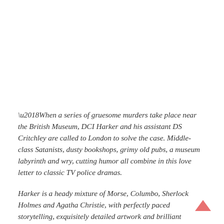'When a series of gruesome murders take place near the British Museum, DCI Harker and his assistant DS Critchley are called to London to solve the case. Middle-class Satanists, dusty bookshops, grimy old pubs, a museum labyrinth and wry, cutting humor all combine in this love letter to classic TV police dramas.
Harker is a heady mixture of Morse, Columbo, Sherlock Holmes and Agatha Christie, with perfectly paced storytelling, exquisitely detailed artwork and brilliant dialogue, exemplified by the chemistry between the grumpy, world-weary Harker and his